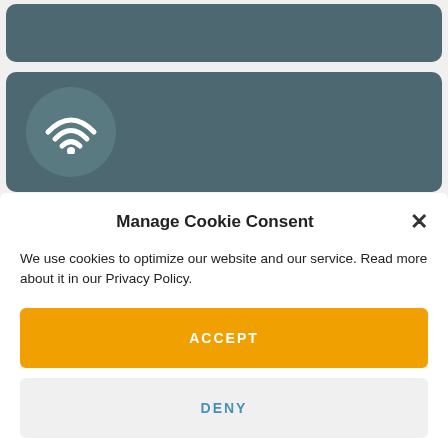[Figure (screenshot): Dark teal rounded card at top (partially visible)]
[Figure (screenshot): Dark teal rounded card with wifi icon circle]
Manage Cookie Consent
We use cookies to optimize our website and our service. Read more about it in our Privacy Policy.
ACCEPT
DENY
PREFERENCES
Privacy Policy   Privacy Policy   Legal Notice